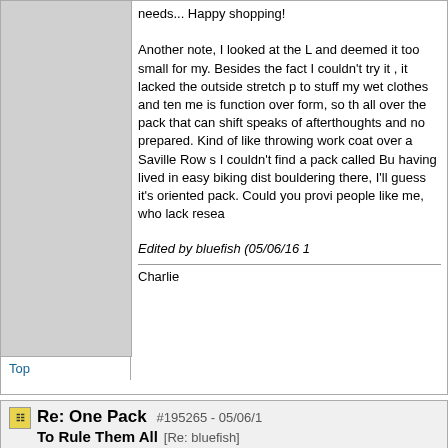needs... Happy shopping!

Another note, I looked at the L and deemed it too small for my. Besides the fact I couldn't try it , it lacked the outside stretch p to stuff my wet clothes and ten me is function over form, so th all over the pack that can shift speaks of afterthoughts and no prepared. Kind of like throwing work coat over a Saville Row s I couldn't find a pack called Bu having lived in easy biking dist bouldering there, I'll guess it's oriented pack. Could you provi people like me, who lack resea
Edited by bluefish (05/06/16 1
Charlie
Top
Re: One Pack To Rule Them All
#195265 - 05/06/1
[Re: bluefish]
4ourplan